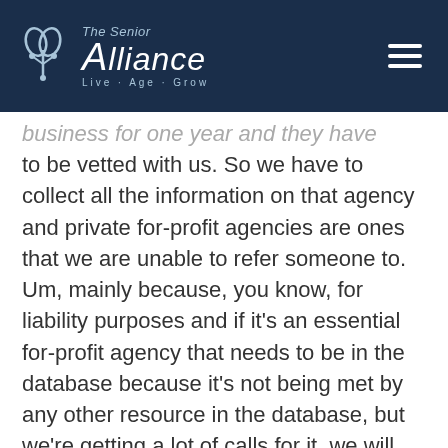The Senior Alliance — Live-Age-Grow
business for one year and they have to be vetted with us. So we have to collect all the information on that agency and private for-profit agencies are ones that we are unable to refer someone to. Um, mainly because, you know, for liability purposes and if it's an essential for-profit agency that needs to be in the database because it's not being met by any other resource in the database, but we're getting a lot of calls for it, we will research that that